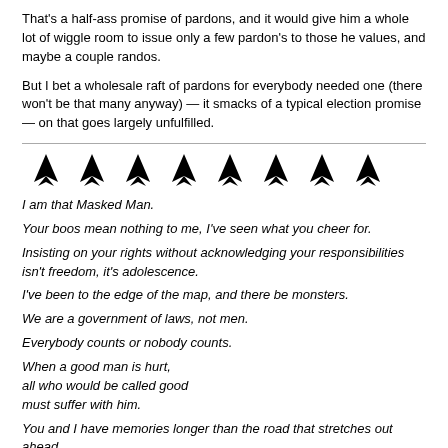That's a half-ass promise of pardons, and it would give him a whole lot of wiggle room to issue only a few pardon's to those he values, and maybe a couple randos.
But I bet a wholesale raft of pardons for everybody needed one (there won't be that many anyway) — it smacks of a typical election promise — on that goes largely unfulfilled.
[Figure (illustration): Eight black stealth fighter jet silhouettes in a row]
I am that Masked Man.
Your boos mean nothing to me, I've seen what you cheer for.
Insisting on your rights without acknowledging your responsibilities isn't freedom, it's adolescence.
I've been to the edge of the map, and there be monsters.
We are a government of laws, not men.
Everybody counts or nobody counts.
When a good man is hurt,
all who would be called good
must suffer with him.
You and I have memories longer than the road that stretches out ahead.
There is no safety for honest men except
by believing all possible evil of evil men.
We don't do focus groups. They just ensure that you don't offend anyone, and produce...